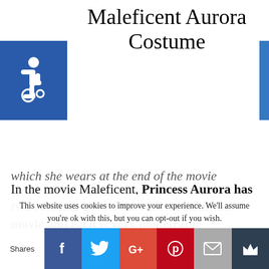Maleficent Aurora Costume
[Figure (illustration): Blue square with white wheelchair accessibility icon]
In the movie Maleficent, Princess Aurora has two costume gowns that are worn in the movie and each is very memorable.
The one gown which is blue in color is worn throughout the movie but she has a special Golden Aurora Coronation Gown which she wears at the end of the movie
This website uses cookies to improve your experience. We’ll assume you’re ok with this, but you can opt-out if you wish.
Shares